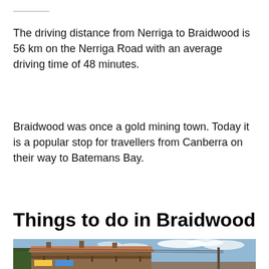The driving distance from Nerriga to Braidwood is 56 km on the Nerriga Road with an average driving time of 48 minutes.
Braidwood was once a gold mining town. Today it is a popular stop for travellers from Canberra on their way to Batemans Bay.
Things to do in Braidwood
[Figure (photo): Street-level photograph of a historic two-storey building in Braidwood with a verandah, terracotta roof, chimneys, and power lines, against a partly cloudy blue sky with trees visible on the left.]